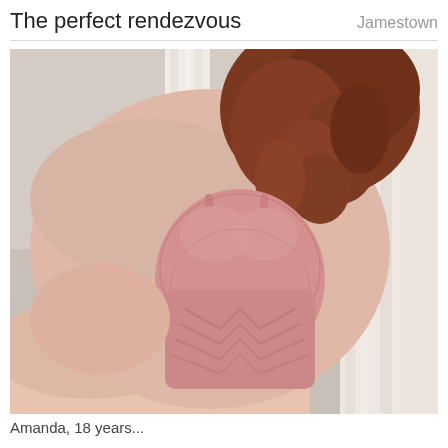The perfect rendezvous
Jamestown
[Figure (photo): A woman with auburn curly hair wearing a pink lace lingerie bodysuit, posed in front of white curtains with a light gray background.]
Amanda, 18 years...